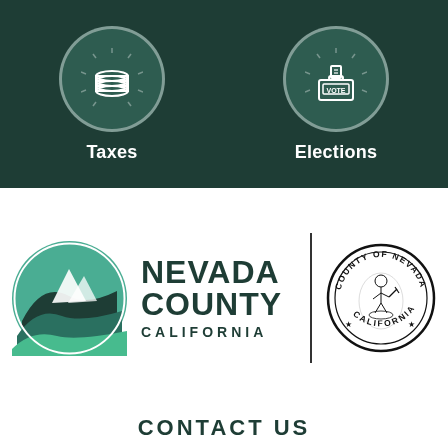[Figure (infographic): Dark teal background with two icon blocks: a coins/taxes icon with label 'Taxes' and a ballot box/vote icon with label 'Elections']
[Figure (logo): Nevada County California modern logo with mountain/landscape circle graphic and text 'NEVADA COUNTY CALIFORNIA', a vertical divider line, and the official County of Nevada California circular seal stamp]
CONTACT US